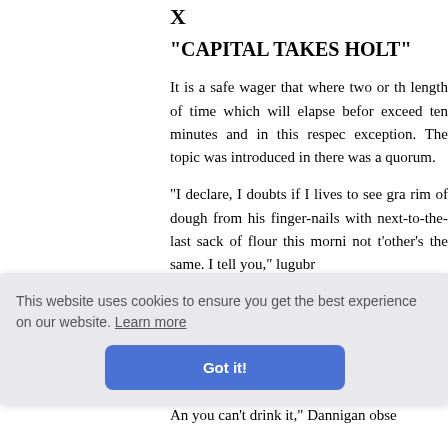X
"CAPITAL TAKES HOLT"
It is a safe wager that where two or th length of time which will elapse befor exceed ten minutes and in this respec exception. The topic was introduced in there was a quorum.
"I declare, I doubts if I lives to see gra rim of dough from his finger-nails with next-to-the-last sack of flour this morni not t'other's the same. I tell you," lugubr
Judge C e of that d l take my "
An you can't drink it, Dannigan obse